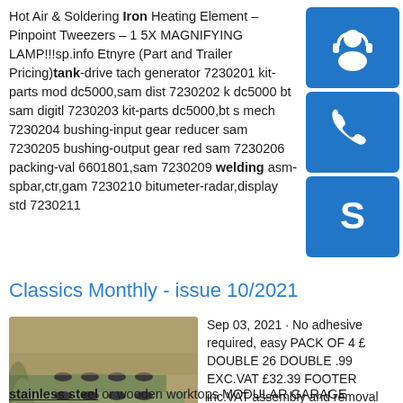Hot Air & Soldering Iron Heating Element – Pinpoint Tweezers – 1 5X MAGNIFYING LAMP!!!sp.info Etnyre (Part and Trailer Pricing)tank-drive tach generator 7230201 kit-parts mod dc5000,sam dist 7230202 k dc5000 bt sam digitl 7230203 kit-parts dc5000,bt s mech 7230204 bushing-input gear reducer sam 7230205 bushing-output gear red sam 7230206 packing-va 6601801,sam 7230209 welding asm-spbar,ctr,gam 7230210 bitumeter-radar,display std 7230211
[Figure (other): Three blue icon buttons on sidebar: headset/support icon, phone icon, Skype icon]
Classics Monthly - issue 10/2021
[Figure (photo): Photo of large cylindrical underground storage tanks lying on dirt ground outdoors]
Sep 03, 2021 · No adhesive required, easy PACK OF 4 £ DOUBLE 26 DOUBLE .99 EXC.VAT £32.39 FOOTER inc.VAT assembly and removal Tile dims. 450 x 450mm 31138 A choice of
stainless steel or wooden worktops MODULAR GARAGE